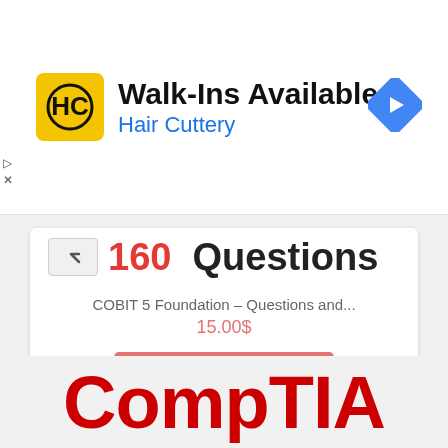[Figure (screenshot): Advertisement banner for Hair Cuttery showing HC logo, Walk-Ins Available text, and navigation icon]
160 Questions
COBIT 5 Foundation – Questions and...
15.00$
Add to basket
Add to Wishlist
CompTIA